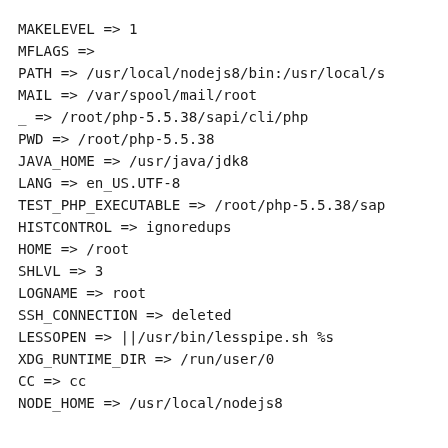MAKELEVEL => 1
MFLAGS =>
PATH => /usr/local/nodejs8/bin:/usr/local/s
MAIL => /var/spool/mail/root
_ => /root/php-5.5.38/sapi/cli/php
PWD => /root/php-5.5.38
JAVA_HOME => /usr/java/jdk8
LANG => en_US.UTF-8
TEST_PHP_EXECUTABLE => /root/php-5.5.38/sap
HISTCONTROL => ignoredups
HOME => /root
SHLVL => 3
LOGNAME => root
SSH_CONNECTION => deleted
LESSOPEN => ||/usr/bin/lesspipe.sh %s
XDG_RUNTIME_DIR => /run/user/0
CC => cc
NODE_HOME => /usr/local/nodejs8